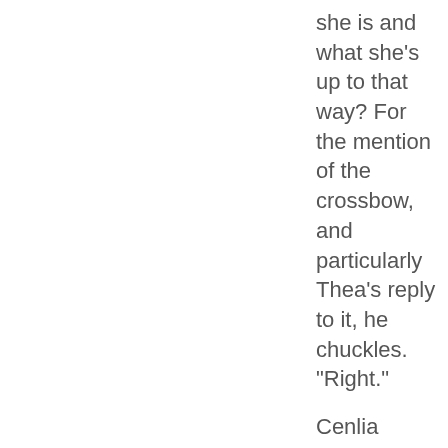she is and what she's up to that way? For the mention of the crossbow, and particularly Thea's reply to it, he chuckles. "Right."
Cenlia snorts, still grinning lopsidedly, "Well maybe ya should get boozed. Way yer actin'," and she snickers. Setting the